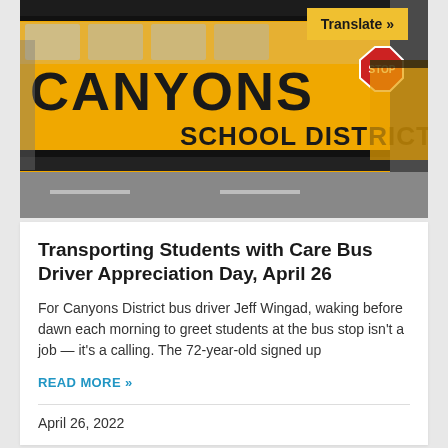[Figure (photo): A yellow school bus with 'Canyons School District' text on the side, with a stop sign visible and other buses in the background. A 'Translate »' button overlay appears in the top-right corner.]
Transporting Students with Care Bus Driver Appreciation Day, April 26
For Canyons District bus driver Jeff Wingad, waking before dawn each morning to greet students at the bus stop isn't a job — it's a calling. The 72-year-old signed up
READ MORE »
April 26, 2022